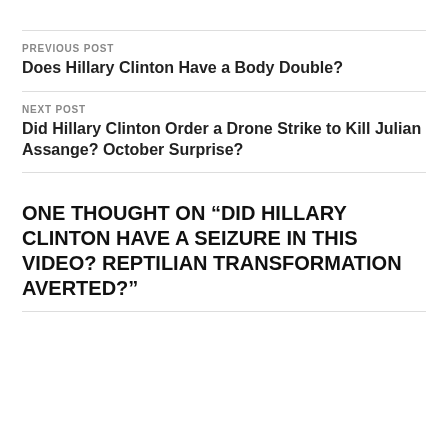PREVIOUS POST
Does Hillary Clinton Have a Body Double?
NEXT POST
Did Hillary Clinton Order a Drone Strike to Kill Julian Assange? October Surprise?
ONE THOUGHT ON “DID HILLARY CLINTON HAVE A SEIZURE IN THIS VIDEO? REPTILIAN TRANSFORMATION AVERTED?”